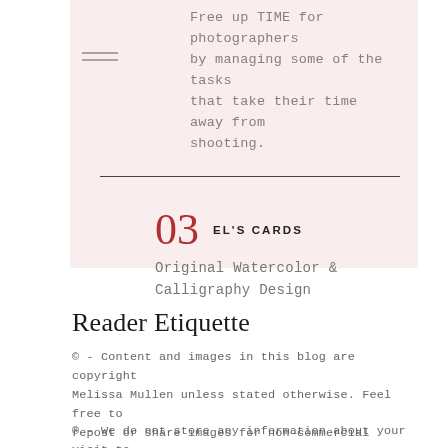Free up TIME for photographers by managing some of the tasks that take their time away from shooting.
03  EL'S CARDS
Original Watercolor & Calligraphy Design
Reader Etiquette
© - Content and images in this blog are copyright Melissa Mullen unless stated otherwise. Feel free to repost or share images for non-commercial purpose, but please make sure to link back to this website and its original post.
® - We do not store any information about your visit to our website other than for analytics and optimization for content and reading experience through the use of